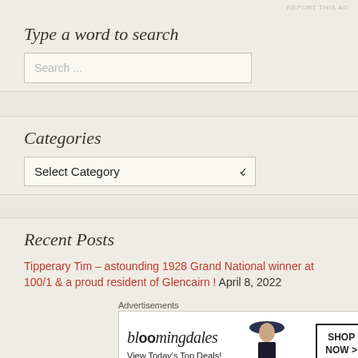REPORT THIS AD
Type a word to search
Search ...
Categories
Select Category
Recent Posts
Tipperary Tim – astounding 1928 Grand National winner at 100/1 & a proud resident of Glencairn ! April 8, 2022
Advertisements
[Figure (illustration): Bloomingdale's advertisement banner showing logo, 'View Today's Top Deals!' text, a woman in a wide-brim hat, and a 'SHOP NOW >' button]
REPORT THIS AD